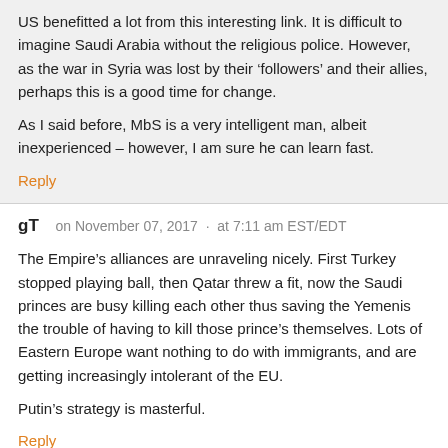US benefitted a lot from this interesting link. It is difficult to imagine Saudi Arabia without the religious police. However, as the war in Syria was lost by their ‘followers’ and their allies, perhaps this is a good time for change.
As I said before, MbS is a very intelligent man, albeit inexperienced – however, I am sure he can learn fast.
Reply
gT   on November 07, 2017 · at 7:11 am EST/EDT
The Empire’s alliances are unraveling nicely. First Turkey stopped playing ball, then Qatar threw a fit, now the Saudi princes are busy killing each other thus saving the Yemenis the trouble of having to kill those prince’s themselves. Lots of Eastern Europe want nothing to do with immigrants, and are getting increasingly intolerant of the EU.
Putin’s strategy is masterful.
Reply